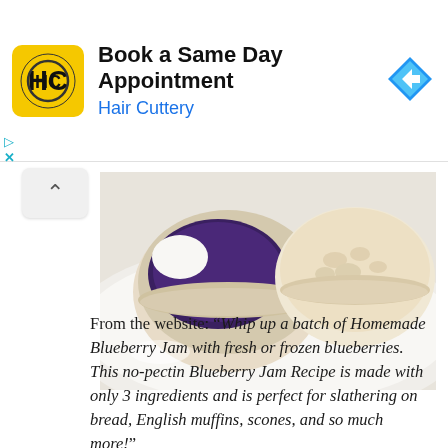[Figure (screenshot): Advertisement banner for Hair Cuttery with yellow logo, text 'Book a Same Day Appointment' and 'Hair Cuttery', and a blue diamond arrow icon on the right.]
[Figure (photo): Photo of English muffins on a white plate, one topped with blueberry jam with a bite taken out, the other plain showing the texture.]
From the website: “Whip up a batch of Homemade Blueberry Jam with fresh or frozen blueberries. This no-pectin Blueberry Jam Recipe is made with only 3 ingredients and is perfect for slathering on bread, English muffins, scones, and so much more!”